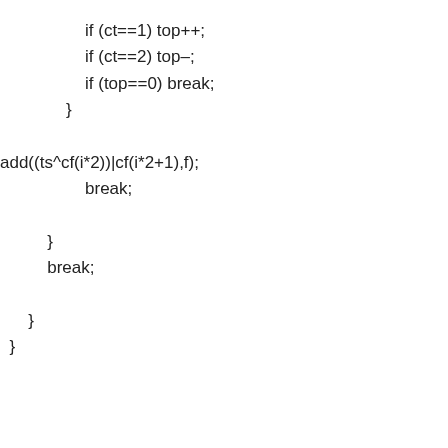if (ct==1) top++;
            if (ct==2) top–;
            if (top==0) break;
        }

add((ts^cf(i*2))|cf(i*2+1),f);
                break;

        }
        break;

    }
}